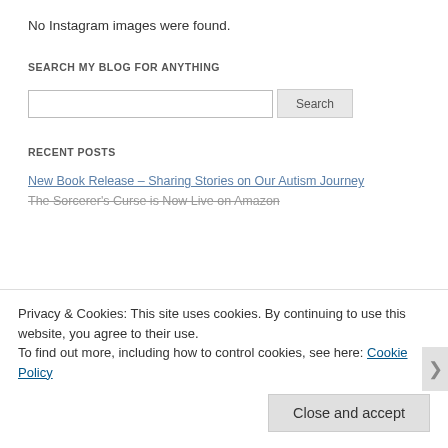No Instagram images were found.
SEARCH MY BLOG FOR ANYTHING
[search input] Search
RECENT POSTS
New Book Release – Sharing Stories on Our Autism Journey
The Sorcerer's Curse is Now Live on Amazon
Privacy & Cookies: This site uses cookies. By continuing to use this website, you agree to their use.
To find out more, including how to control cookies, see here: Cookie Policy
Close and accept